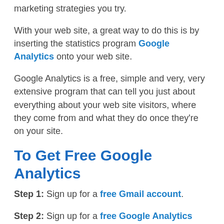marketing strategies you try.
With your web site, a great way to do this is by inserting the statistics program Google Analytics onto your web site.
Google Analytics is a free, simple and very, very extensive program that can tell you just about everything about your web site visitors, where they come from and what they do once they're on your site.
To Get Free Google Analytics
Step 1: Sign up for a free Gmail account.
Step 2: Sign up for a free Google Analytics account.